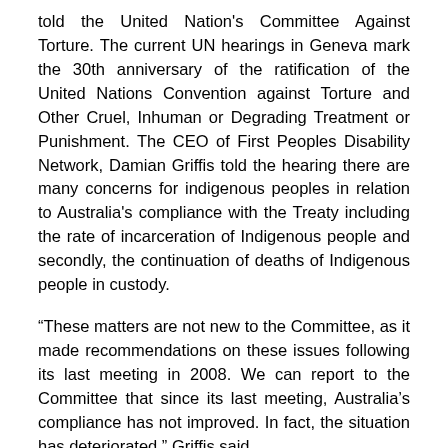told the United Nation's Committee Against Torture. The current UN hearings in Geneva mark the 30th anniversary of the ratification of the United Nations Convention against Torture and Other Cruel, Inhuman or Degrading Treatment or Punishment. The CEO of First Peoples Disability Network, Damian Griffis told the hearing there are many concerns for indigenous peoples in relation to Australia's compliance with the Treaty including the rate of incarceration of Indigenous people and secondly, the continuation of deaths of Indigenous people in custody.
“These matters are not new to the Committee, as it made recommendations on these issues following its last meeting in 2008. We can report to the Committee that since its last meeting, Australia’s compliance has not improved. In fact, the situation has deteriorated,” Griffis said.